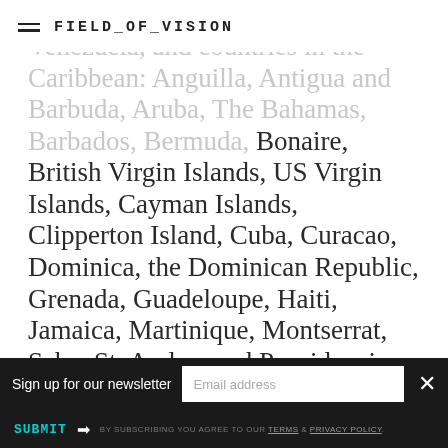FIELD_OF_VISION
Venezuela, and countries in the Caribbean: Anguilla, Antigua and Barbuda, Aruba, The Bahamas, Barbados, Bermuda, Bonaire, British Virgin Islands, US Virgin Islands, Cayman Islands, Clipperton Island, Cuba, Curacao, Dominica, the Dominican Republic, Grenada, Guadeloupe, Haiti, Jamaica, Martinique, Montserrat, Saba, St. Andres and Providencia, Saint Barthélemy, Saint Kitts and Nevis, Saint Lucia, Saint Martin, Saint Pierre and Miquelon, Saint Vincent and the Grenadines, Sint Eustatius, Sint
Sign up for our newsletter
Email address
SUBMIT → BY SUBSCRIBING YOU AGREE TO OUR TERMS & PRIVACY POLICY.